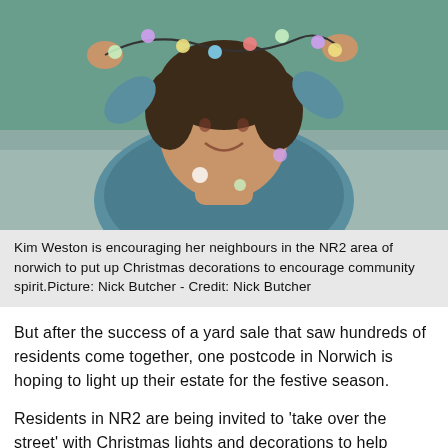[Figure (photo): Woman smiling and holding up colorful Christmas lights/fairy lights, wearing a blue patterned shirt, sitting on a grey couch.]
Kim Weston is encouraging her neighbours in the NR2 area of norwich to put up Christmas decorations to encourage community spirit.Picture: Nick Butcher - Credit: Nick Butcher
But after the success of a yard sale that saw hundreds of residents come together, one postcode in Norwich is hoping to light up their estate for the festive season.
Residents in NR2 are being invited to 'take over the street' with Christmas lights and decorations to help spread festive joy.
Kim Weston moved to Norwich 20 years ago from